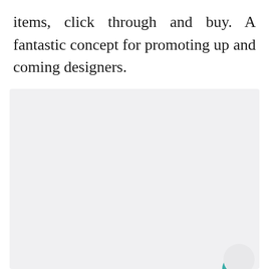items, click through and buy. A fantastic concept for promoting up and coming designers.
[Figure (screenshot): A light gray rectangular image area placeholder with UI interaction elements: a teal heart/like button, a count badge showing 12, a share button, and a partial profile circle in the bottom right corner.]